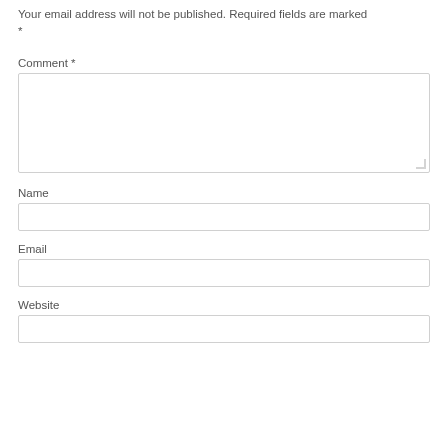Your email address will not be published. Required fields are marked *
Comment *
[Figure (screenshot): Comment textarea input field]
Name
[Figure (screenshot): Name text input field]
Email
[Figure (screenshot): Email text input field]
Website
[Figure (screenshot): Website text input field]